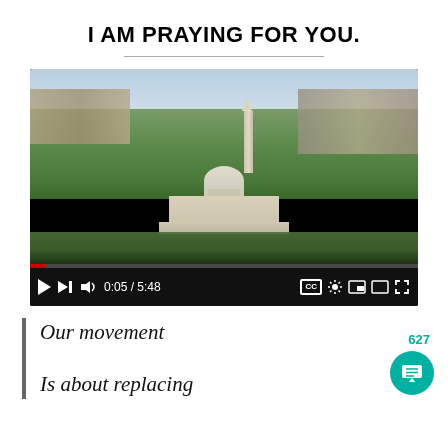I AM PRAYING FOR YOU.
[Figure (screenshot): Video player screenshot showing aerial view of Washington D.C. with the U.S. Capitol building and Washington Monument visible. Video progress at 0:05 / 5:48. Controls bar with play, skip, volume, timestamps, CC, settings, and fullscreen buttons.]
Our movement
Is about replacing